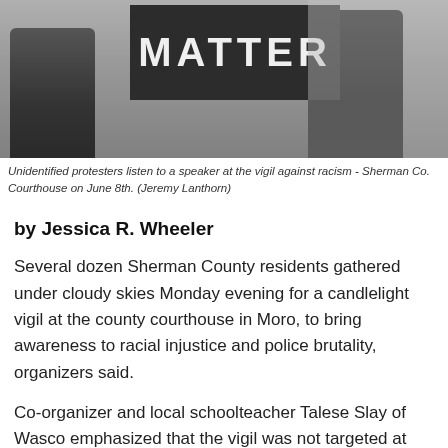[Figure (photo): Black and white photo of unidentified protesters at a vigil, one holding a sign reading MATTER]
Unidentified protesters listen to a speaker at the vigil against racism - Sherman Co. Courthouse on June 8th. (Jeremy Lanthorn)
by Jessica R. Wheeler
Several dozen Sherman County residents gathered under cloudy skies Monday evening for a candlelight vigil at the county courthouse in Moro, to bring awareness to racial injustice and police brutality, organizers said.
Co-organizer and local schoolteacher Talese Slay of Wasco emphasized that the vigil was not targeted at local law enforcement.